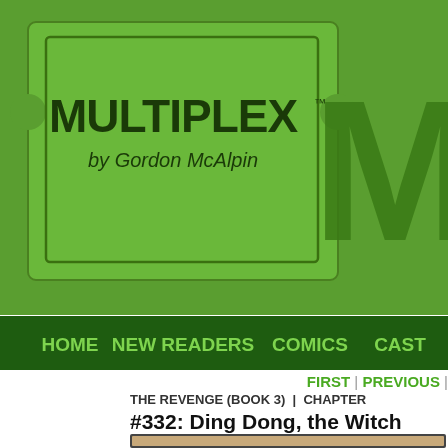[Figure (screenshot): Multiplex webcomic website header with green background, ticket-shaped logo reading MULTIPLEX by Gordon McAlpin, large dark green M letter on right side]
HOME  NEW READERS  COMICS  CAST
FIRST | PREVIOUS |
THE REVENGE (BOOK 3) | CHAPTER
#332: Ding Dong, the Witch
[Figure (illustration): Comic panel showing a blonde female character in red vest saying Hi, Allen! to another character who responds ...Sunny? I thought you had Thursdays off. Office bulletin board in background.]